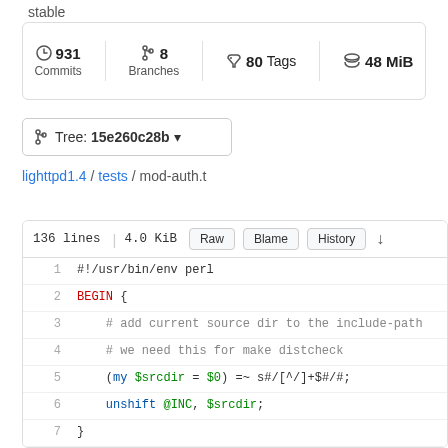stable
931 Commits  8 Branches  80 Tags  48 MiB
Tree: 15e260c28b
lighttpd1.4 / tests / mod-auth.t
136 lines | 4.0 KiB  Raw  Blame  History
1  #!/usr/bin/env perl
2  BEGIN {
3      # add current source dir to the include-path
4      # we need this for make distcheck
5      (my $srcdir = $0) =~ s#/[^/]+$#/#;
6      unshift @INC, $srcdir;
7  }
8
9  use strict;
10 use IO::Socket;